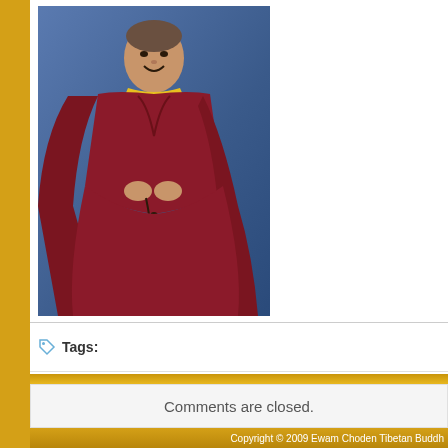[Figure (photo): Tibetan Buddhist monk in maroon robes holding prayer beads, smiling, against a blue background]
Tags:
Comments are closed.
Copyright © 2009 Ewam Choden Tibetan Buddh